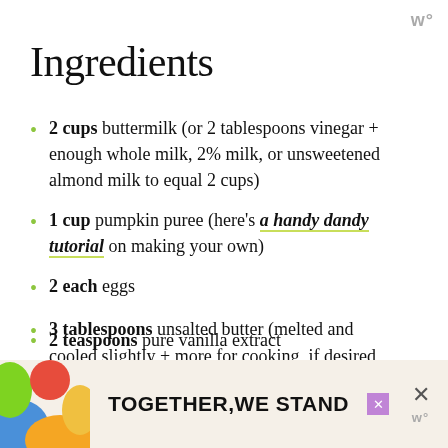w°
Ingredients
2 cups buttermilk (or 2 tablespoons vinegar + enough whole milk, 2% milk, or unsweetened almond milk to equal 2 cups)
1 cup pumpkin puree (here's a handy dandy tutorial on making your own)
2 each eggs
3 tablespoons unsalted butter (melted and cooled slightly + more for cooking, if desired (can sub vegan butter or coconut oil))
2 teaspoons pure vanilla extract
[Figure (other): Advertisement banner reading TOGETHER,WE STAND with colorful decorative shapes on the left side]